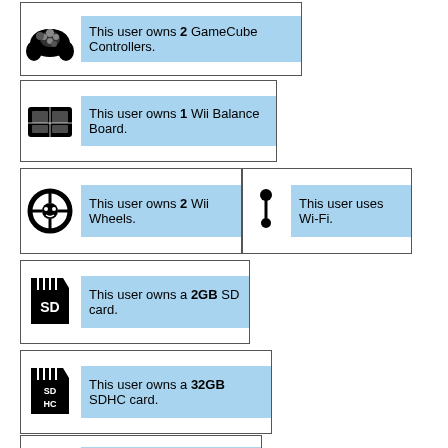This user owns 2 GameCube Controllers.
This user owns 1 Wii Balance Board.
This user owns 2 Wii Wheels.
This user uses Wi-Fi.
This user owns a 2GB SD card.
This user owns a 32GB SDHC card.
This user owns a USB Keyboard.